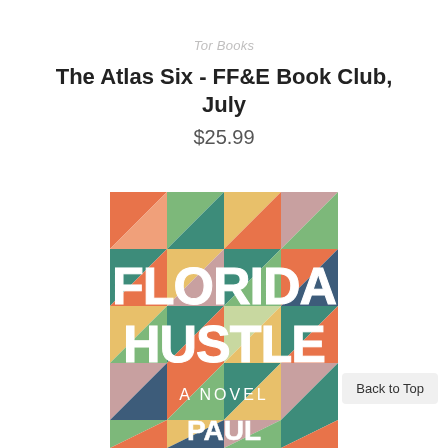Tor Books
The Atlas Six - FF&E Book Club, July
$25.99
[Figure (photo): Book cover of 'Florida Hustle: A Novel' by Paul, featuring a colorful geometric triangle pattern in teal, orange, green, salmon, and yellow, with large white hand-lettered text reading 'FLORIDA HUSTLE' and subtitle 'A Novel' and author name 'PAUL' at the bottom.]
Back to Top